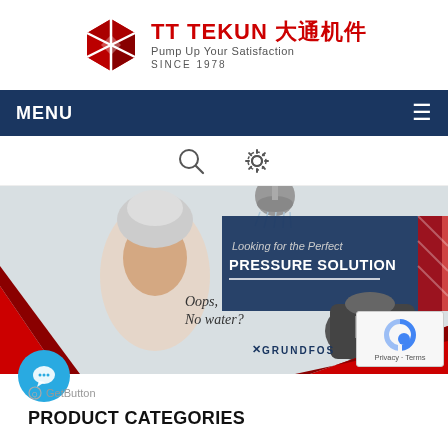[Figure (logo): TT TEKUN logo with red cube icon and text 'TT TEKUN 大通机件 Pump Up Your Satisfaction SINCE 1978']
MENU
[Figure (screenshot): Navigation icon bar with search and settings icons]
[Figure (photo): Banner advertisement showing a woman with a towel on her head looking disappointed, text 'Oops, No water?' and 'Looking for the Perfect PRESSURE SOLUTION', Grundfos branding, and a pump product image]
[Figure (other): Blue circular chat button]
GetButton
PRODUCT CATEGORIES